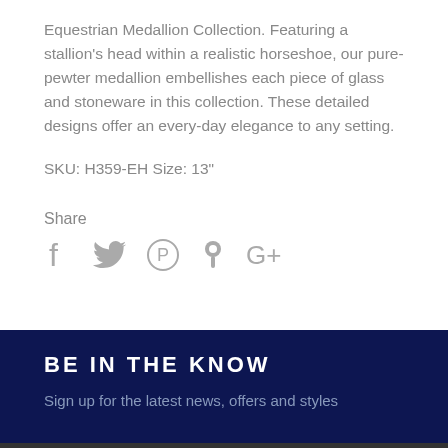Equestrian Medallion Collection. Featuring a stallion's head within a realistic horseshoe, our pure-pewter medallion embellishes each piece of glass and stoneware in this collection. These detailed designs offer an every-day elegance to any setting.
SKU: H359-EH Size: 13"
Share
[Figure (infographic): Social share icons: Facebook (f), Twitter (bird), Pinterest (P), Fancy (pin), Google+ (G+)]
BE IN THE KNOW
Sign up for the latest news, offers and styles